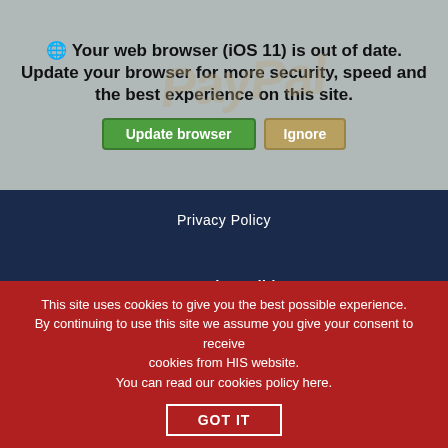[Figure (screenshot): Browser out of date warning bar with PayPal watermark in background. Shows warning icon, text 'Your web browser (iOS 11) is out of date. Update your browser for more security, speed and the best experience on this site.' with green 'Update browser' button and tan 'Ignore' button.]
Privacy Policy
Terms and Conditions
[Figure (logo): ISO 9001 Quality Management certification badge with UKAS mark]
[Figure (logo): ISO 14001 Environmental Management certification badge with UKAS mark]
This site uses cookies to give you the best possible experience. By continuing to use this site we assume you give your consent to receive cookies from HIS website. You can read our cookies policy here.
GOT IT